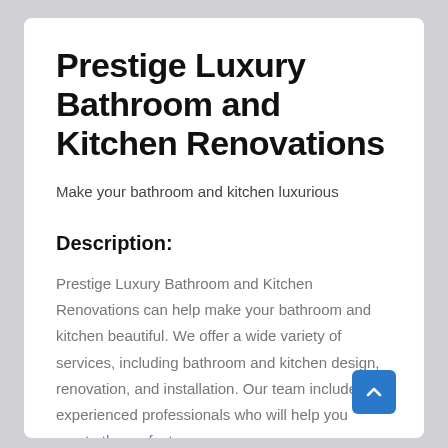Prestige Luxury Bathroom and Kitchen Renovations
Make your bathroom and kitchen luxurious
Description:
Prestige Luxury Bathroom and Kitchen Renovations can help make your bathroom and kitchen beautiful. We offer a wide variety of services, including bathroom and kitchen design, renovation, and installation. Our team includes experienced professionals who will help you create the perfect space.